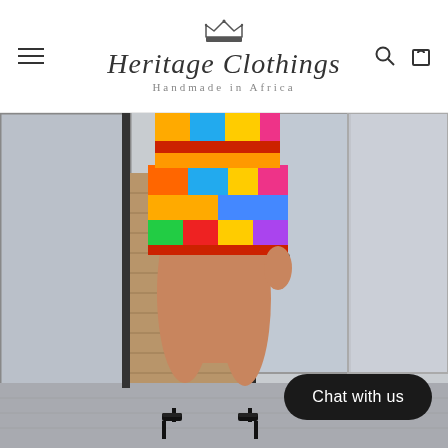[Figure (logo): Heritage Clothings logo with crown icon and 'Handmade in Africa' tagline]
[Figure (photo): Woman wearing colorful African-print patterned shorts/skirt and heels, standing in front of a glass building facade with brick wall]
Chat with us